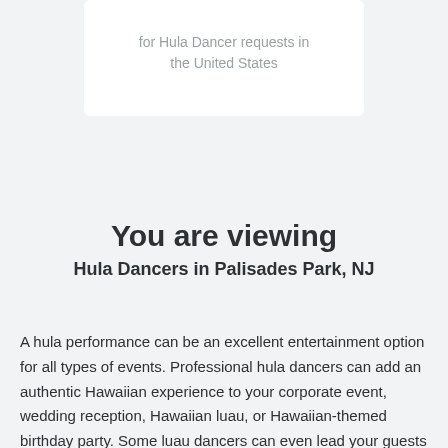for Hula Dancer requests in the United States
You are viewing
Hula Dancers in Palisades Park, NJ
A hula performance can be an excellent entertainment option for all types of events. Professional hula dancers can add an authentic Hawaiian experience to your corporate event, wedding reception, Hawaiian luau, or Hawaiian-themed birthday party. Some luau dancers can even lead your guests through a hula dancing lesson.
The cost of hiring a hula dancer in Palisades Park, New Jersey will vary depending on the length of the event and the number of dancers you want. Some groups can put on a full show including